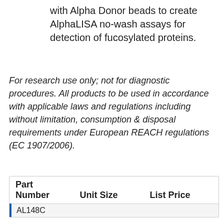with Alpha Donor beads to create AlphaLISA no-wash assays for detection of fucosylated proteins.
For research use only; not for diagnostic procedures. All products to be used in accordance with applicable laws and regulations including without limitation, consumption & disposal requirements under European REACH regulations (EC 1907/2006).
| Part Number | Unit Size | List Price |
| --- | --- | --- |
| AL148C |  |  |